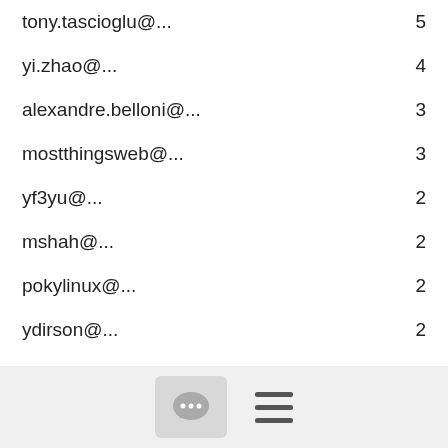tony.tascioglu@...    5
yi.zhao@...    4
alexandre.belloni@...    3
mostthingsweb@...    3
yf3yu@...    2
mshah@...    2
pokylinux@...    2
ydirson@...    2
jaewon@...    2
alejandro@...    2
yoctoproject@...    1
naveen.kumar.saini@...    1
kergoth@...    1
Martin.Jansa@...    1
stacygaikovaia@...    1
dl9pf@...    1
liezhi.yang@...    1
open.source@...    1
weaverjs@...    1
[Figure (infographic): Footer navigation bar with a chat bubble icon button and a hamburger menu icon]